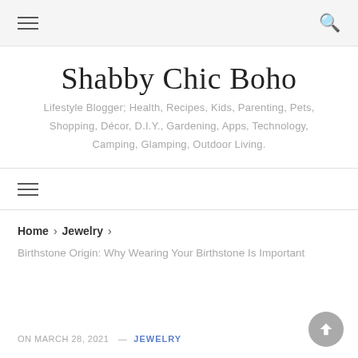Shabby Chic Boho — navigation header with hamburger menu and search icon
Shabby Chic Boho
Lifestyle Blogger; Health, Recipes, Kids, Parenting, Pets, Shopping, Décor, D.I.Y., Gardening, Apps, Technology, Camping, Glamping, Outdoor Living.
Secondary navigation bar with hamburger menu
Home > Jewelry >
Birthstone Origin: Why Wearing Your Birthstone Is Important
ON MARCH 28, 2021 — JEWELRY